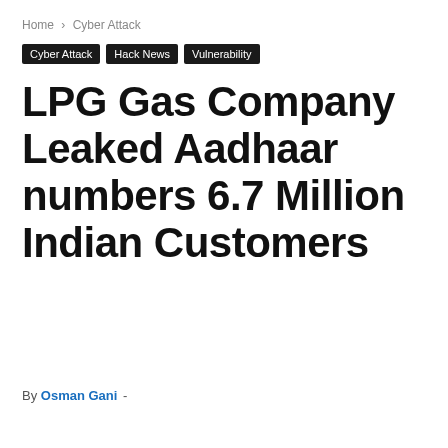Home › Cyber Attack
Cyber Attack
Hack News
Vulnerability
LPG Gas Company Leaked Aadhaar numbers 6.7 Million Indian Customers
By Osman Gani -